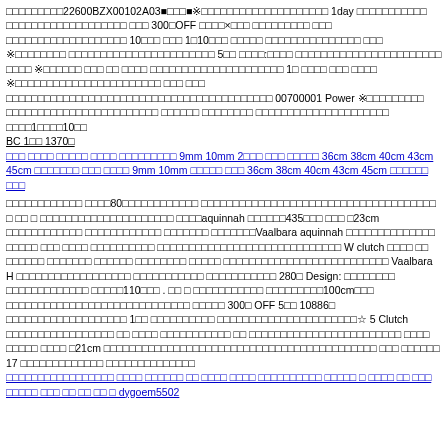□□□□□□□□□22600BZX00102A03■□□□■※□□□□□□□□□□□□□□□□□□□□ 1day □□□□□□□□□□□ □□□□□□□□□□□□□□□□□□□ □□□ 300□OFF □□□□×□□□ □□□□□□□□□ □□□ □□□□□□□□□□□□□□□□□□□ 10□□□ □□□ 1□10□□□ □□□□□ □□□□□□□□□□□□□□□ □□□ ※□□□□□□□□ □□□□□□□□□□□□□□□□□□□□□□□ 5□□ □□□□:□□□□ □□□□□□□□□□□□□□□□□□□□□□□ □□□□ ※□□□□□□ □□□ □□ □□□□ □□□□□□□□□□□□□□□□□□□□□ 1□ □□□□ □□□ □□□□ ※□□□□□□□□□□□□□□□□□□□□□□□ □□□ □□□ □□□□□□□□□□□□□□□□□□□□□□□□□□□□□□□□□□□□□□□□□□ 00700001 Power ※□□□□□□□□□ □□□□□□□□□□□□□□□□□□□□□□□□ □□□□□□ □□□□□□□□ □□□□□□□□□□□□□□□□□□□□□ □□□□1□□□□10□□ BC 1□□ 1370□
□□□ □□□□ □□□□□ □□□□ □□□□□□□□□ 9mm 10mm 2□□□ □□□ □□□□□ 36cm 38cm 40cm 43cm 45cm □□□□□□□ □□□ □□□□ 9mm 10mm □□□□□ □□□ 36cm 38cm 40cm 43cm 45cm □□□□□□ □□□
□□□□□□□□□□□□ □□□□80□□□□□□□□□□□□ □□□□□□□□□□□□□□□□□□□□□□□□□□□□□□□□□□□□□ □ □□ □ □□□□□□□□□□□□□□□□□□□□□ □□□□□aquinnah □□□□□□435□□□ □□□ □23cm □□□□□□□□□□□□ □□□□□□□□□□□□ □□□□□□□ □□□□□□□Vaalbara aquinnah □□□□□□□□□□□□□□ □□□□□ □□□ □□□□ □□□□□□□□□□ □□□□□□□□□□□□□□□□□□□□□□□□□□□□□ W clutch □□□□ □□ □□□□□□ □□□□□□□ □□□□□□ □□□□□□□□ □□□□□ □□□□□□□□□□□□□□□□□□□□□□□□□□ Vaalbara H □□□□□□□□□□□□□□□□□□ □□□□□□□□□□□ □□□□□□□□□□□ 280□ Design: □□□□□□□□ □□□□□□□□□□□□□ □□□□□110□□□ . □□ □ □□□□□□□□□□□ □□□□□□□□□100cm□□□ □□□□□□□□□□□□□□□□□□□□□□□□□□□□□ □□□□□ 300□ OFF 5□□ 10886□ □□□□□□□□□□□□□□□□□□□ 1□□ □□□□□□□□□□ □□□□□□□□□□□□□□□□□□□□□□☆ 5 Clutch □□□□□□□□□□□□□□□□□ □□ □□□□ □□□□□□□□□□□ □□ □□□□□□□□□□□□□□□□□□□□□□□□ □□□□ □□□□□ □□□□ □21cm □□□□□□□□□□□□□□□□□□□□□□□□□□□□□□□□□□□□□□□□□□□ □□□ □□□□□□ 17 □□□□□□□□□□□□□ □□□□□□□□□□□□□□
□□□□□□□□□□□□□□□□□ □□□□ □□□□□□ □□ □□□□ □□□□ □□□□□□□□□□ □□□□□ □ □□□□ □□ □□□ □□□□□ □□□ □□ □□ □□ □ dygoem5502